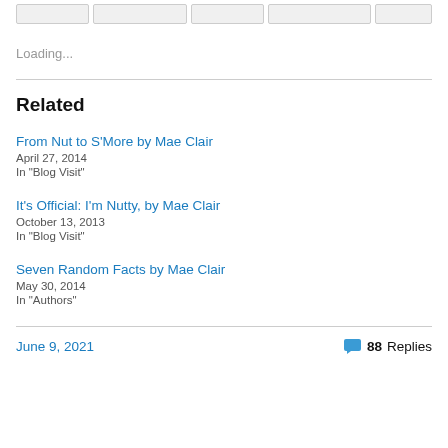Loading...
Related
From Nut to S'More by Mae Clair
April 27, 2014
In "Blog Visit"
It's Official: I'm Nutty, by Mae Clair
October 13, 2013
In "Blog Visit"
Seven Random Facts by Mae Clair
May 30, 2014
In "Authors"
June 9, 2021    88 Replies